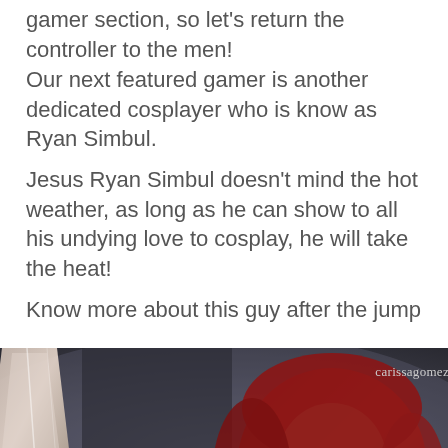gamer section, so let's return the controller to the men!
Our next featured gamer is another dedicated cosplayer who is know as Ryan Simbul.
Jesus Ryan Simbul doesn't mind the hot weather, as long as he can show to all his undying love to cosplay, he will take the heat!
Know more about this guy after the jump
[Figure (photo): Photo of a cosplayer with red hair and armor/crystal prop, taken by carissagomez photography. Dark moody background with a large crystal-like prop on the left and a red-haired character on the right.]